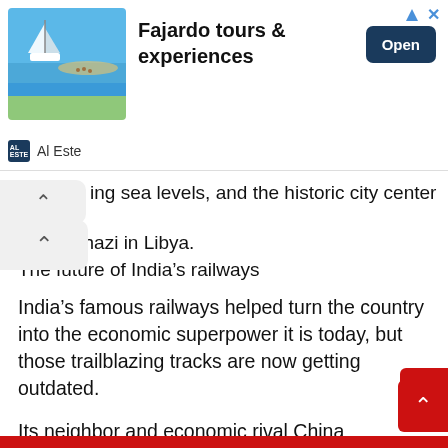[Figure (screenshot): Advertisement banner for 'Fajardo tours & experiences' with a tropical beach/sailboat image on the left, bold title text, and an 'Open' button on the right. Source shown as 'Al Este'.]
ing sea levels, and the historic city center of Benghazi in Libya.
The future of India's railways
India's famous railways helped turn the country into the economic superpower it is today, but those trailblazing tracks are now getting outdated.
Its neighbor and economic rival China has been undergoing a high-speed rail revolution, with nearly 12,000 miles of lines completed in the last five years alone. Can India keep up?